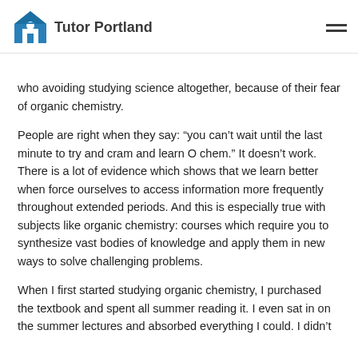Tutor Portland
who avoiding studying science altogether, because of their fear of organic chemistry.
People are right when they say: “you can’t wait until the last minute to try and cram and learn O chem.” It doesn’t work. There is a lot of evidence which shows that we learn better when force ourselves to access information more frequently throughout extended periods. And this is especially true with subjects like organic chemistry: courses which require you to synthesize vast bodies of knowledge and apply them in new ways to solve challenging problems.
When I first started studying organic chemistry, I purchased the textbook and spent all summer reading it. I even sat in on the summer lectures and absorbed everything I could. I didn’t